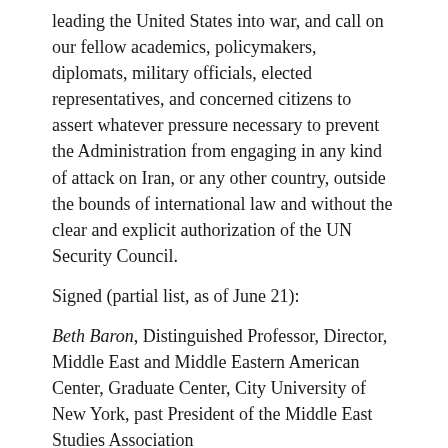leading the United States into war, and call on our fellow academics, policymakers, diplomats, military officials, elected representatives, and concerned citizens to assert whatever pressure necessary to prevent the Administration from engaging in any kind of attack on Iran, or any other country, outside the bounds of international law and without the clear and explicit authorization of the UN Security Council.
Signed (partial list, as of June 21):
Beth Baron, Distinguished Professor, Director, Middle East and Middle Eastern American Center, Graduate Center, City University of New York, past President of the Middle East Studies Association
Joel Beinin, Donald J. McLachlan Professor of History and Professor of Middle East History, Emeritus Stanford University, past President of the Middle East Studies Association